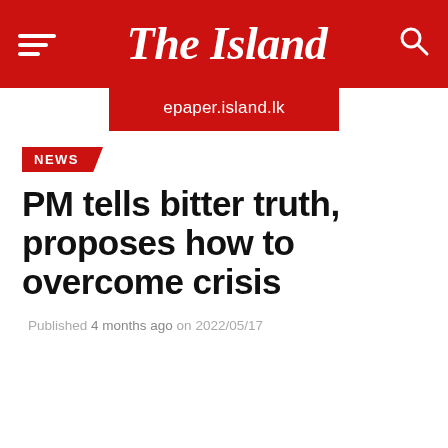The Island
epaper.island.lk
NEWS
PM tells bitter truth, proposes how to overcome crisis
Published 4 months ago on 2022/05/17